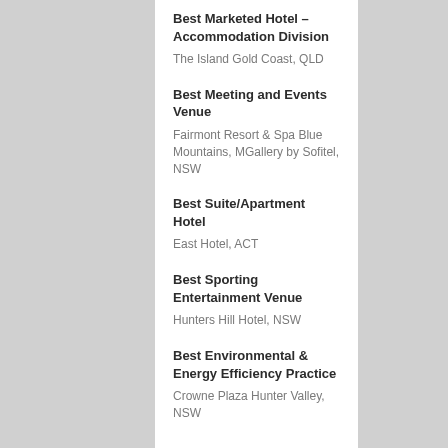Best Marketed Hotel – Accommodation Division
The Island Gold Coast, QLD
Best Meeting and Events Venue
Fairmont Resort & Spa Blue Mountains, MGallery by Sofitel, NSW
Best Suite/Apartment Hotel
East Hotel, ACT
Best Sporting Entertainment Venue
Hunters Hill Hotel, NSW
Best Environmental & Energy Efficiency Practice
Crowne Plaza Hunter Valley, NSW